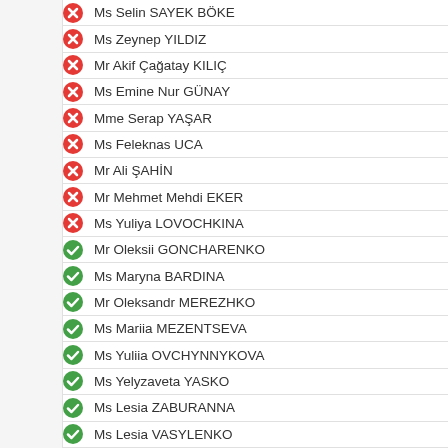Ms Selin SAYEK BÖKE
Ms Zeynep YILDIZ
Mr Akif Çağatay KILIÇ
Ms Emine Nur GÜNAY
Mme Serap YAŞAR
Ms Feleknas UCA
Mr Ali ŞAHİN
Mr Mehmet Mehdi EKER
Ms Yuliya LOVOCHKINA
Mr Oleksii GONCHARENKO
Ms Maryna BARDINA
Mr Oleksandr MEREZHKO
Ms Mariia MEZENTSEVA
Ms Yuliia OVCHYNNYKOVA
Ms Yelyzaveta YASKO
Ms Lesia ZABURANNA
Ms Lesia VASYLENKO